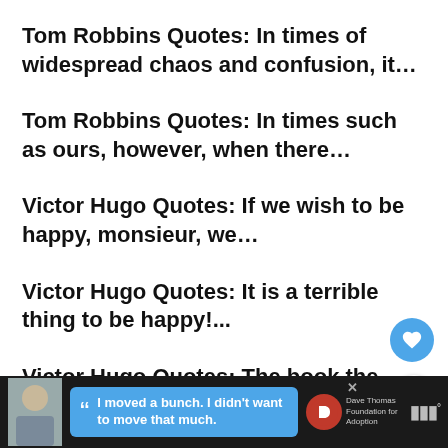Tom Robbins Quotes: In times of widespread chaos and confusion, it...
Tom Robbins Quotes: In times such as ours, however, when there…
Victor Hugo Quotes: If we wish to be happy, monsieur, we…
Victor Hugo Quotes: It is a terrible thing to be happy!...
Victor Hugo Quotes: The book the reader has now before hi…
[Figure (screenshot): Advertisement banner at bottom: teenager photo, blue speech bubble with quote 'I moved a bunch. I didn't want to move that much.', Dave Thomas Foundation for Adoption logo, iHeartRadio logo]